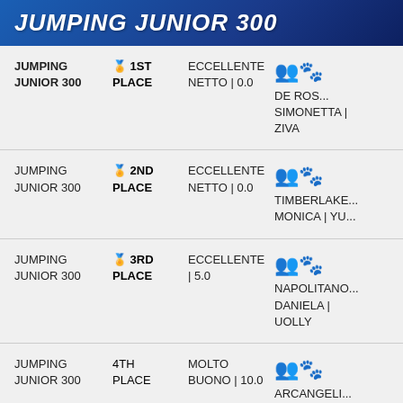JUMPING JUNIOR 300
| Event | Place | Score | Participant |
| --- | --- | --- | --- |
| JUMPING JUNIOR 300 | 🥇 1ST PLACE | ECCELLENTE NETTO | 0.0 | 👥🐾 DE ROS... SIMONETTA | ZIVA |
| JUMPING JUNIOR 300 | 🥈 2ND PLACE | ECCELLENTE NETTO | 0.0 | 👥🐾 TIMBERLAKE... MONICA | YU... |
| JUMPING JUNIOR 300 | 🥉 3RD PLACE | ECCELLENTE | 5.0 | 👥🐾 NAPOLITANO... DANIELA | UOLLY |
| JUMPING JUNIOR 300 | 4TH PLACE | MOLTO BUONO | 10.0 | 👥🐾 ARCANGELI... BRUNO | ASCOTT |